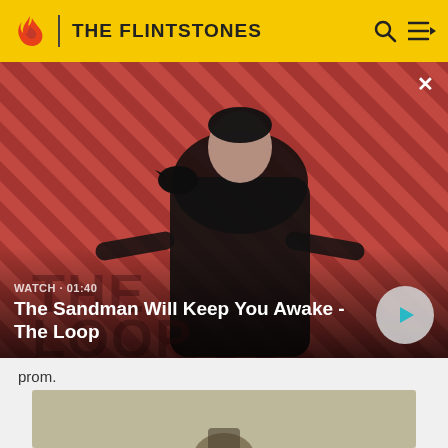THE FLINTSTONES
[Figure (screenshot): Video banner with dark-clad figure and raven on red diagonal striped background. Text: WATCH • 01:40 / The Sandman Will Keep You Awake - The Loop. Play button on right.]
prom.
[Figure (photo): Partial view of a second image with olive/tan background, partially visible at bottom of page.]